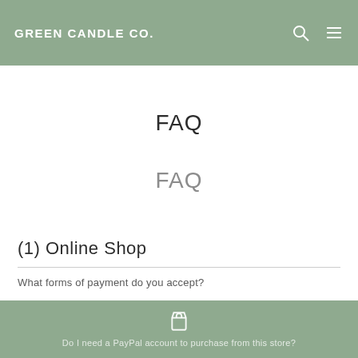GREEN CANDLE CO.
FAQ
FAQ
(1) Online Shop
What forms of payment do you accept?
We accept the major credit cards Visa, MasterCard as well as direct PayPal account payments.
Do I need a PayPal account to purchase from this store?